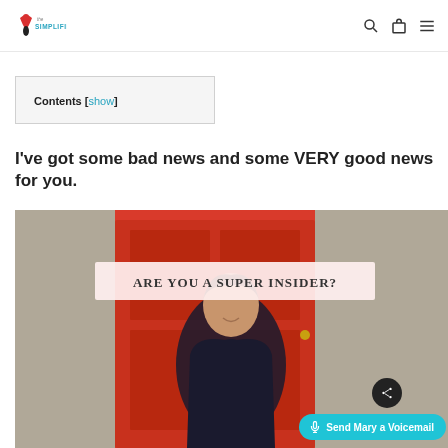The Simplifiers
| Contents |
| --- |
| [show] |
I've got some bad news and some VERY good news for you.
[Figure (photo): Photo of a smiling woman standing in front of a bright red door. An overlay banner reads 'ARE YOU A SUPER INSIDER?']
Send Mary a Voicemail